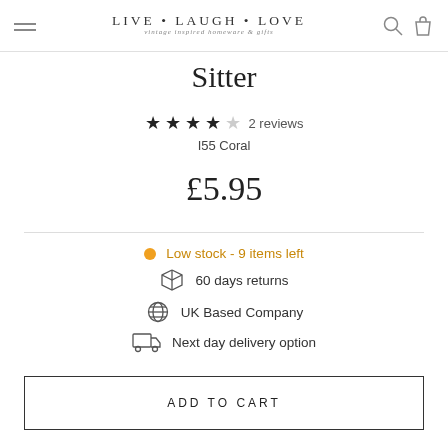LIVE·LAUGH·LOVE vintage inspired homeware & gifts
Sitter
★★★★☆ 2 reviews
I55 Coral
£5.95
Low stock - 9 items left
60 days returns
UK Based Company
Next day delivery option
ADD TO CART